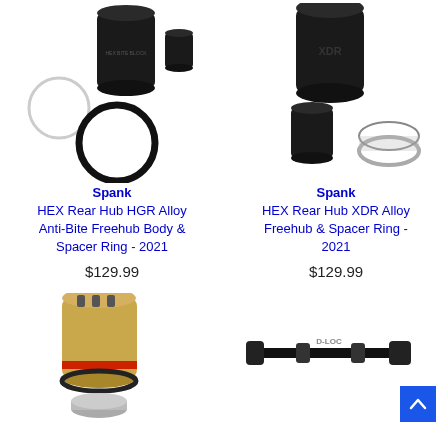[Figure (photo): Spank HEX Rear Hub HGR Alloy Anti-Bite Freehub Body and Spacer Ring parts laid out - black cylindrical freehub body, white ring, black o-ring]
Spank
HEX Rear Hub HGR Alloy Anti-Bite Freehub Body & Spacer Ring - 2021
$129.99
[Figure (photo): Spank HEX Rear Hub XDR Alloy Freehub and Spacer Ring parts - black cylindrical freehub body labeled XDR, black spacer, metallic ring]
Spank
HEX Rear Hub XDR Alloy Freehub & Spacer Ring - 2021
$129.99
[Figure (photo): Gold/tan colored freehub body with red accent and separate silver base piece]
[Figure (photo): Black axle skewer labeled D-LOC with blue scroll-to-top button overlay]